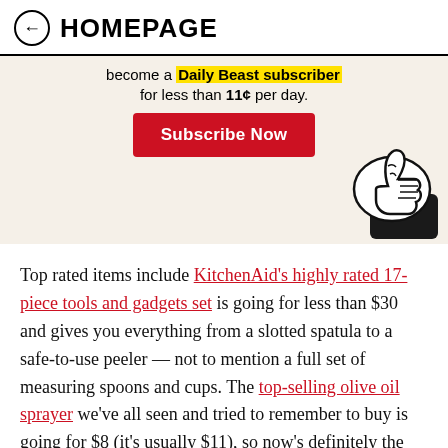← HOMEPAGE
[Figure (infographic): Advertisement banner with text 'become a Daily Beast subscriber for less than 11¢ per day.' with a red Subscribe Now button and a cartoon thumbs-up illustration on a cream background.]
Top rated items include KitchenAid's highly rated 17-piece tools and gadgets set is going for less than $30 and gives you everything from a slotted spatula to a safe-to-use peeler — not to mention a full set of measuring spoons and cups. The top-selling olive oil sprayer we've all seen and tried to remember to buy is going for $8 (it's usually $11), so now's definitely the time to actually nab it. And if your oven's thermometer isn't doing its job right